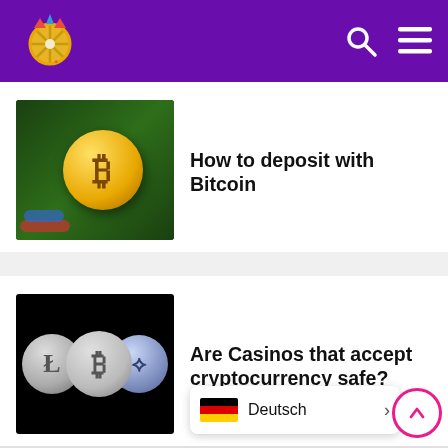Casino website header with logo, search icon, and menu icon
[Figure (screenshot): Casino chips and a gold Bitcoin coin thumbnail image]
How to deposit with Bitcoin
[Figure (screenshot): Three cryptocurrency coins (Litecoin, Bitcoin, Ethereum) on black background]
Are Casinos that accept cryptocurrency safe?
Wir sind eine unparteiische Qu... Casinospielen
Deutsch